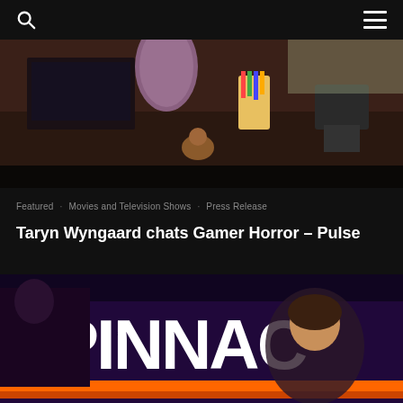[Figure (photo): Photo of a gaming desk setup with laptop, colorful pencils in a cup, small figurines, and various items on the desk]
Featured · Movies and Television Shows · Press Release
Taryn Wyngaard chats Gamer Horror – Pulse
[Figure (photo): Photo at a Pinnacle branded event showing a man on the left and a smiling woman on the right, with large white PINNAC text visible on a dark purple background and orange stripe at the bottom]